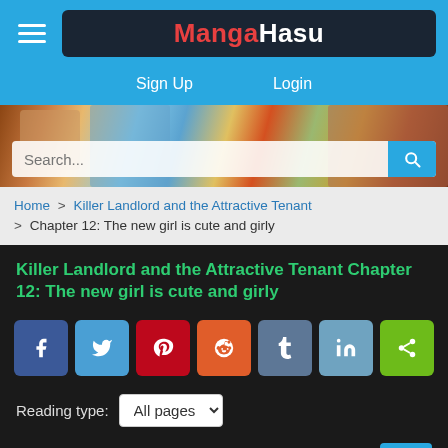MangaHasu
Sign Up   Login
[Figure (screenshot): Manga collage banner image with search bar overlay]
Home > Killer Landlord and the Attractive Tenant > Chapter 12: The new girl is cute and girly
Killer Landlord and the Attractive Tenant Chapter 12: The new girl is cute and girly
[Figure (infographic): Social share buttons: Facebook, Twitter, Pinterest, Reddit, Tumblr, LinkedIn, Share]
Reading type: All pages